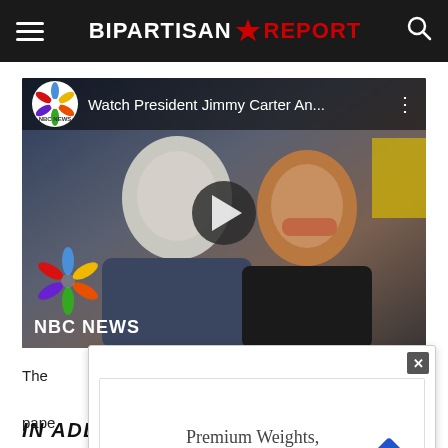BIPARTISAN REPORT
[Figure (screenshot): NBC News YouTube video thumbnail showing President Jimmy Carter and Rosalynn Carter, with NBC News logo and video title 'Watch President Jimmy Carter An...']
The
[Figure (screenshot): Advertisement overlay for LA Fitness: 'Premium Weights, Strength, And Cardio Equipment' with LA Fitness logo and navigation arrow icon. Has close button (x) and info/close icons.]
IN ADDITION, GEORGIA REQUIRES